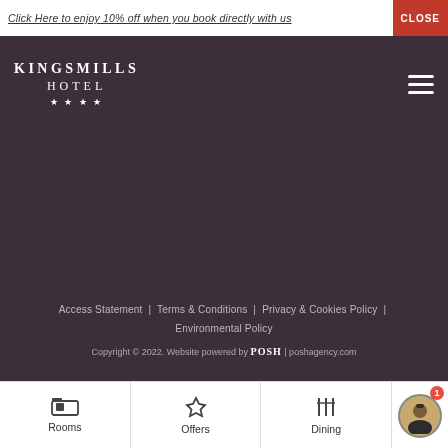Click Here to enjoy 10% off when you book directly with us
[Figure (logo): Kingsmills Hotel four-star logo in white on dark purple background]
Access Statement | Terms & Conditions | Privacy & Cookies Policy | Environmental Policy
Copyright © 2022. Website powered by POSH | poshagency.com
[Figure (illustration): Highland Business Award winner badge with bagpiper silhouette and orange WINNER banner, HIGHLAND BUSINESS AWARDS 2019 text]
[Figure (infographic): Bottom navigation bar with icons for Rooms, Offers, and Dining]